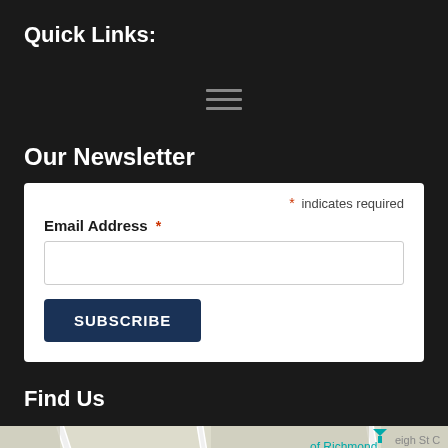Quick Links:
[Figure (other): Hamburger menu icon (three horizontal lines)]
Our Newsletter
* indicates required
Email Address *
SUBSCRIBE
Find Us
[Figure (map): Street map showing Richmond area with yellow road and 'of Richmond' label]